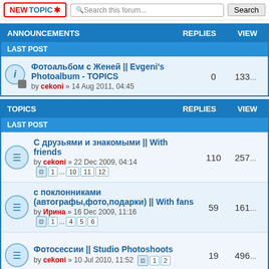NEWTOPIC* | Search this forum... | Search
ANNOUNCEMENTS | REPLIES | VIEWS
LAST POST
Фотоальбом с Женей || Evgeni's Photoalbum - TOPICS by cekoni » 14 Aug 2011, 04:45 | 0 | 1336
TOPICS | REPLIES | VIEWS
LAST POST
С друзьями и знакомыми || With friends by cekoni » 22 Dec 2009, 04:14 | pages 1...10 11 12 | 110 | 2570
с поклонниками (автографы,фото,подарки) || With fans by Ирина » 16 Dec 2009, 11:16 | pages 1...4 5 6 | 59 | 1610
Фотосессии || Studio Photoshoots by cekoni » 10 Jul 2010, 11:52 | pages 1 2 | 19 | 4960
Детские фото Жени || Childhood by Ирина » 02 Dec 2009, 10:48 | 4 | 1888